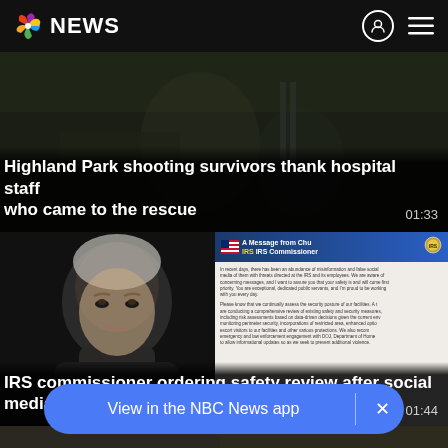NBC NEWS
[Figure (screenshot): Video thumbnail: Highland Park shooting survivors thank hospital staff who came to the rescue. Duration 01:33.]
Highland Park shooting survivors thank hospital staff who came to the rescue
[Figure (screenshot): Video thumbnail split: left half shows a man's face (IRS commissioner), right half shows an IRS letter titled 'A Message from Chuck IRS Commissioner'. Duration 01:44.]
IRS commissioner ordering safety review after social media threats
View in the NBC News app